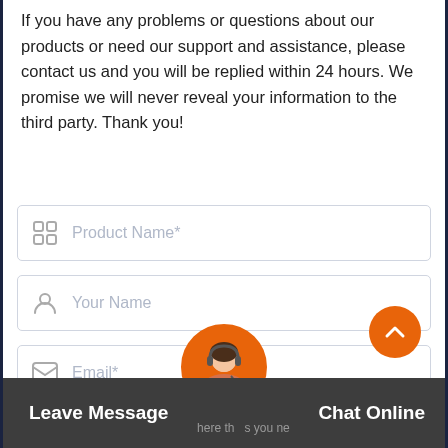If you have any problems or questions about our products or need our support and assistance, please contact us and you will be replied within 24 hours. We promise we will never reveal your information to the third party. Thank you!
[Figure (screenshot): Contact form with four fields: Product Name*, Your Name, Email*, Your Phone or Whatsapp*]
[Figure (screenshot): Bottom bar with Leave Message on left, Chat Online on right, customer service avatar circle in center, and orange scroll-up button on right side]